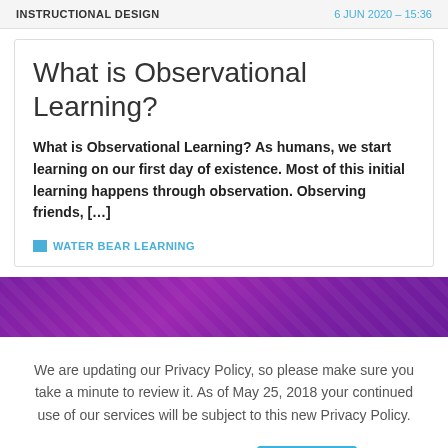INSTRUCTIONAL DESIGN | 6 JUN 2020 - 15:36
What is Observational Learning?
What is Observational Learning? As humans, we start learning on our first day of existence. Most of this initial learning happens through observation. Observing friends, […]
WATER BEAR LEARNING
[Figure (photo): Purple textured banner image]
We are updating our Privacy Policy, so please make sure you take a minute to review it. As of May 25, 2018 your continued use of our services will be subject to this new Privacy Policy.
Review Privacy Policy   ✔ OK